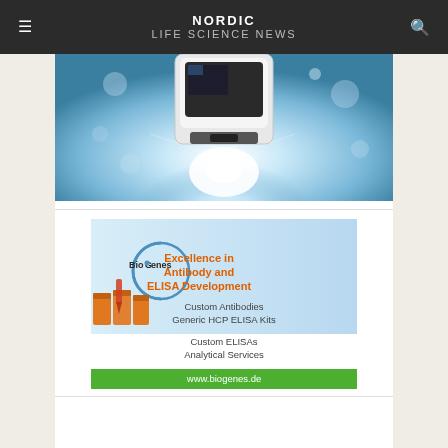NORDIC LIFE SCIENCE NEWS
[Figure (photo): Laboratory instrument – a white/silver automated lab device emitting bright light beams on a blue/white glowing background]
[Figure (illustration): BioGenes advertisement banner: 'Excellence in Antibody and ELISA Development. Custom Antibodies, Generic HCP ELISA Kits, Custom ELISAs, Analytical Services. www.biogenes.de']